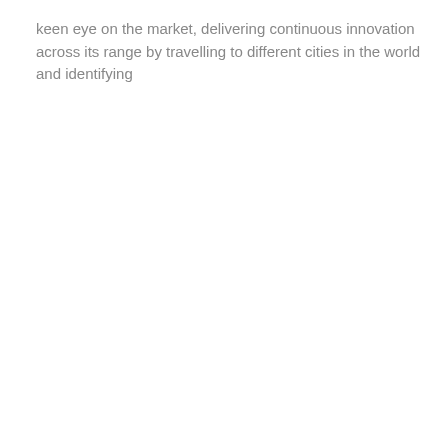keen eye on the market, delivering continuous innovation across its range by travelling to different cities in the world and identifying